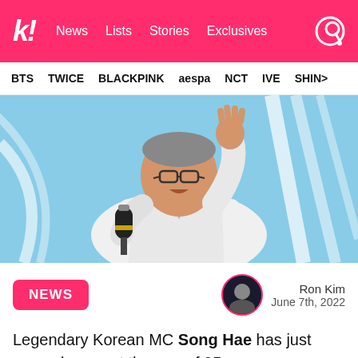k! News Lists Stories Exclusives
BTS TWICE BLACKPINK aespa NCT IVE SHINE
[Figure (photo): An older Korean man in a white suit holding a microphone and raising his hand, performing on stage with a blue and white background.]
NEWS | Ron Kim | June 7th, 2022
Legendary Korean MC Song Hae has just passed away at the age of 95.